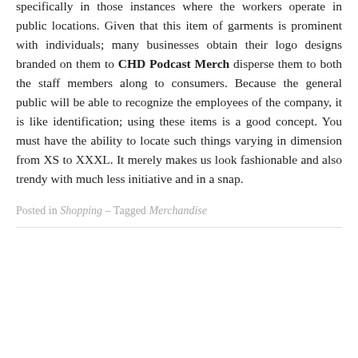specifically in those instances where the workers operate in public locations. Given that this item of garments is prominent with individuals; many businesses obtain their logo designs branded on them to CHD Podcast Merch disperse them to both the staff members along to consumers. Because the general public will be able to recognize the employees of the company, it is like identification; using these items is a good concept. You must have the ability to locate such things varying in dimension from XS to XXXL. It merely makes us look fashionable and also trendy with much less initiative and in a snap.
Posted in Shopping – Tagged Merchandise